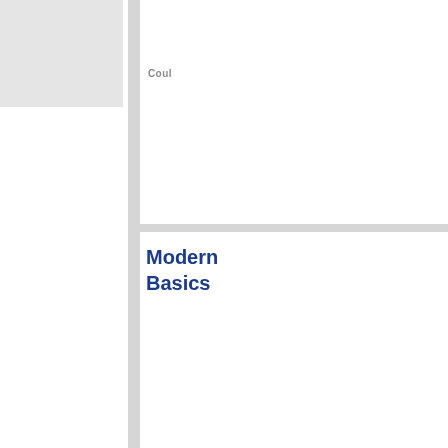[Figure (photo): Gray placeholder image in the top-left area of the page]
Coul
Modern
Basics